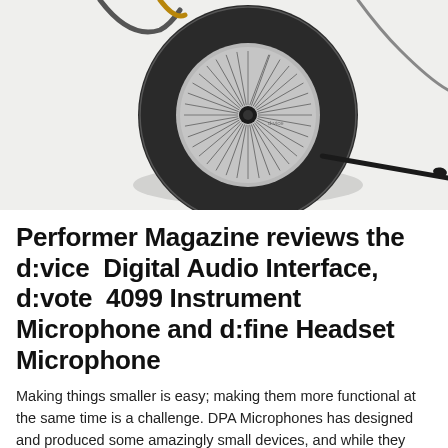[Figure (photo): Close-up photo of DPA microphone equipment on a light gray background: a circular black disc-shaped device (d:vice Digital Audio Interface) with a starburst-pattern grille and small microphone capsule at center, plus a thin boom microphone extending to the lower right, and cables visible at the top.]
Performer Magazine reviews the d:vice Digital Audio Interface, d:vote 4099 Instrument Microphone and d:fine Headset Microphone
Making things smaller is easy; making them more functional at the same time is a challenge. DPA Microphones has designed and produced some amazingly small devices, and while they function well and sound great, they do leave us with a little head-scratching